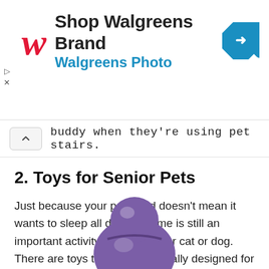[Figure (screenshot): Walgreens advertisement banner with red cursive W logo, 'Shop Walgreens Brand' in bold black, 'Walgreens Photo' in blue, and a blue diamond navigation icon on the right]
buddy when they're using pet stairs.
2. Toys for Senior Pets
Just because your pet is old doesn't mean it wants to sleep all day. Playtime is still an important activity for your senior cat or dog. There are toys that are specifically designed for elderly animals.
[Figure (photo): A purple rubber chew toy (KONG-style) partially visible at the bottom of the page]